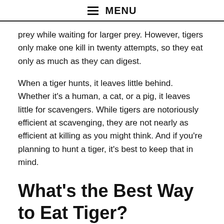MENU
prey while waiting for larger prey. However, tigers only make one kill in twenty attempts, so they eat only as much as they can digest.
When a tiger hunts, it leaves little behind. Whether it's a human, a cat, or a pig, it leaves little for scavengers. While tigers are notoriously efficient at scavenging, they are not nearly as efficient at killing as you might think. And if you're planning to hunt a tiger, it's best to keep that in mind.
What's the Best Way to Eat Tiger?
What's the best way to eat Tiger? If you're new to this superfood, here are a few tips: